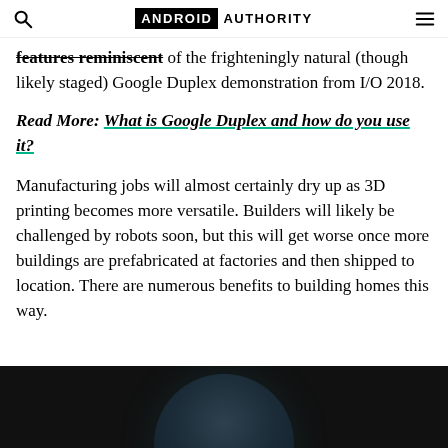ANDROID AUTHORITY
features reminiscent of the frighteningly natural (though likely staged) Google Duplex demonstration from I/O 2018.
Read More: What is Google Duplex and how do you use it?
Manufacturing jobs will almost certainly dry up as 3D printing becomes more versatile. Builders will likely be challenged by robots soon, but this will get worse once more buildings are prefabricated at factories and then shipped to location. There are numerous benefits to building homes this way.
[Figure (photo): Bottom portion of an article page showing the top of a dark device/phone against a dark background]